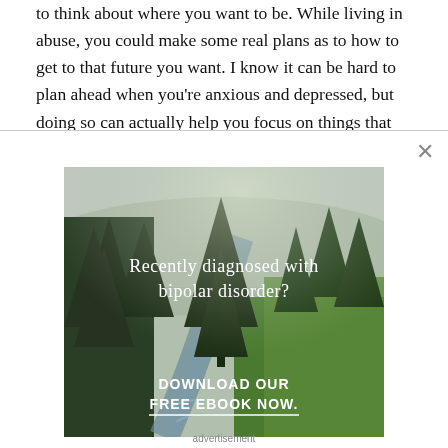to think about where you want to be. While living in abuse, you could make some real plans as to how to get to that future you want. I know it can be hard to plan ahead when you're anxious and depressed, but doing so can actually help you focus on things that are good for you and relieve some of the depression and
[Figure (illustration): Advertisement overlay with a nature/forest scene showing trees, a river path, and green meadow. Text reads 'Recently diagnosed with bipolar disorder?' and 'DOWNLOAD OUR FREE EBOOK NOW.' with a white underline. Bottom label says 'advertisement'.]